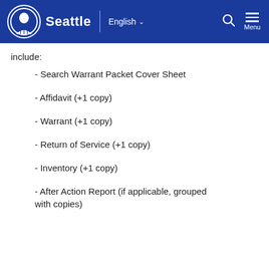Seattle | English  Menu
include:
- Search Warrant Packet Cover Sheet
- Affidavit (+1 copy)
- Warrant (+1 copy)
- Return of Service (+1 copy)
- Inventory (+1 copy)
- After Action Report (if applicable, grouped with copies)